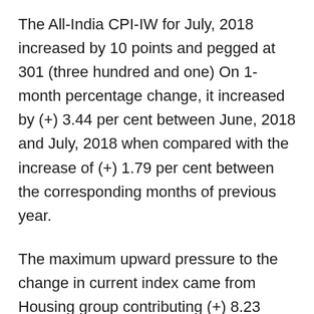The All-India CPI-IW for July, 2018 increased by 10 points and pegged at 301 (three hundred and one) On 1-month percentage change, it increased by (+) 3.44 per cent between June, 2018 and July, 2018 when compared with the increase of (+) 1.79 per cent between the corresponding months of previous year.
The maximum upward pressure to the change in current index came from Housing group contributing (+) 8.23 percentage points to the total change. The Food index further accentuated the overall index by (+) 1.30 percentage points. At item level, Eggs (Hen), Goat Meat, Chillies Green, Onion, Brinjal, Cabbage, Cauliflower, Gourd, Lady Finger, Mango (Ripe), Tomato, Sugar, Cooking